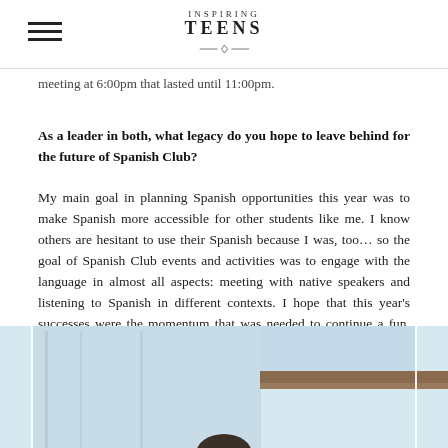Inspiring Teens
meeting at 6:00pm that lasted until 11:00pm.
As a leader in both, what legacy do you hope to leave behind for the future of Spanish Club?
My main goal in planning Spanish opportunities this year was to make Spanish more accessible for other students like me. I know others are hesitant to use their Spanish because I was, too… so the goal of Spanish Club events and activities was to engage with the language in almost all aspects: meeting with native speakers and listening to Spanish in different contexts. I hope that this year's successes were the momentum that was needed to continue a fun, engaging club for years to come.
[Figure (photo): Outdoor photo, partially visible — shows building roofline and sky with a person's head visible at the bottom edge of the frame]